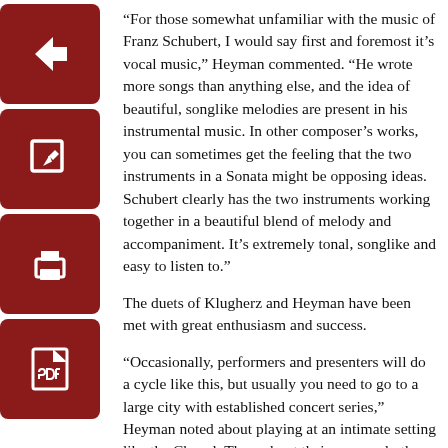[Figure (other): Four dark red square icon buttons stacked vertically: back arrow, edit/pencil, print, and PDF document icons]
“For those somewhat unfamiliar with the music of Franz Schubert, I would say first and foremost it’s vocal music,” Heyman commented. “He wrote more songs than anything else, and the idea of beautiful, songlike melodies are present in his instrumental music. In other composer’s works, you can sometimes get the feeling that the two instruments in a Sonata might be opposing ideas. Schubert clearly has the two instruments working together in a beautiful blend of melody and accompaniment. It’s extremely tonal, songlike and easy to listen to.”
The duets of Klugherz and Heyman have been met with great enthusiasm and success.
“Occasionally, performers and presenters will do a cycle like this, but usually you need to go to a large city with established concert series,” Heyman noted about playing at an intimate setting like the Chapel. Throughout their careers, both Klugherz and Heyman have played on large-scale forums around the world.
On the prospect of future concerts Heyman admits, “To be honest, we haven’t thought much beyond the idea of the Schubert Sonatas.”
This is not an event to be missed, considering the musicians’ talent and the rarity with which such concerts occur in the middle of dairy country.